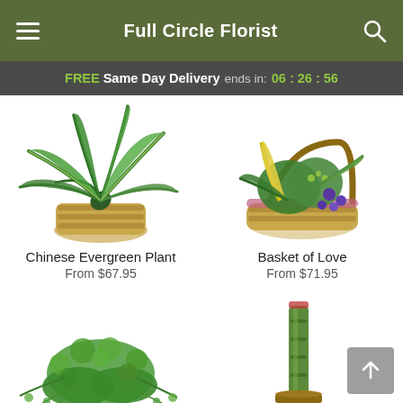Full Circle Florist
FREE Same Day Delivery ends in: 06 : 26 : 56
[Figure (photo): Chinese Evergreen Plant in a woven basket pot with large green leaves]
Chinese Evergreen Plant
From $67.95
[Figure (photo): Basket of Love arrangement with green plants and purple flowers in a woven basket]
Basket of Love
From $71.95
[Figure (photo): Small bushy green plant with fine leaves]
[Figure (photo): Lucky bamboo stalks in a container, partially visible]